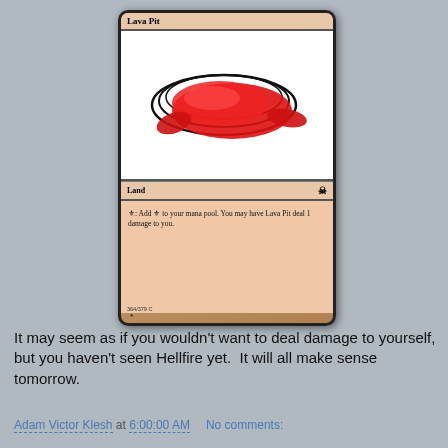[Figure (illustration): A Magic: The Gathering card named 'Lava Pit'. It is a Land card. The art shows a red blob/pool shape with black curved lines around it on a white background. Card text reads: '{T}: Add {R} to your mana pool. You may have Lava Pit deal 1 damage to you.' Set number: 364/379 C.]
It may seem as if you wouldn't want to deal damage to yourself, but you haven't seen Hellfire yet.  It will all make sense tomorrow.
Adam Victor Klesh at 6:00:00 AM    No comments: